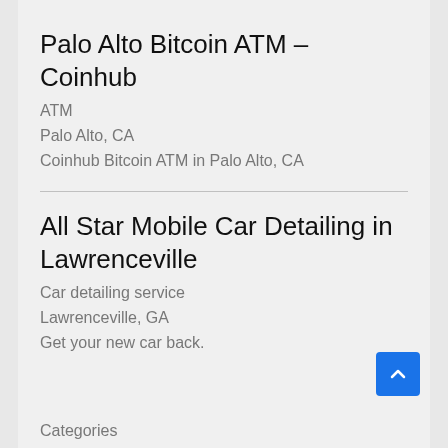Palo Alto Bitcoin ATM – Coinhub
ATM
Palo Alto, CA
Coinhub Bitcoin ATM in Palo Alto, CA
All Star Mobile Car Detailing in Lawrenceville
Car detailing service
Lawrenceville, GA
Get your new car back.
Categories